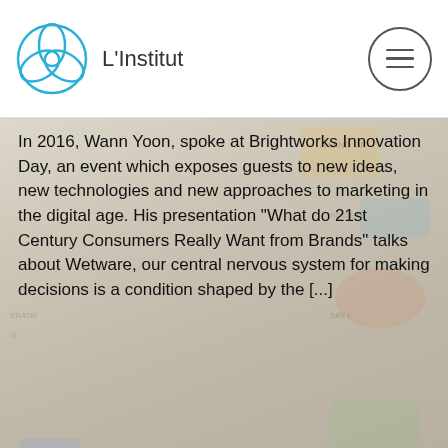L'Institut
In 2016, Wann Yoon, spoke at Brightworks Innovation Day, an event which exposes guests to new ideas, new technologies and new approaches to marketing in the digital age. His presentation "What do 21st Century Consumers Really Want from Brands" talks about Wetware, our central nervous system for making decisions is a condition shaped by the [...]
Brightworks Innovation Day, March, 2016
Read more
THOUGHT LEADERSHIP
UNLEASHING CREATIVITY IN YOUR ORGANIZATION